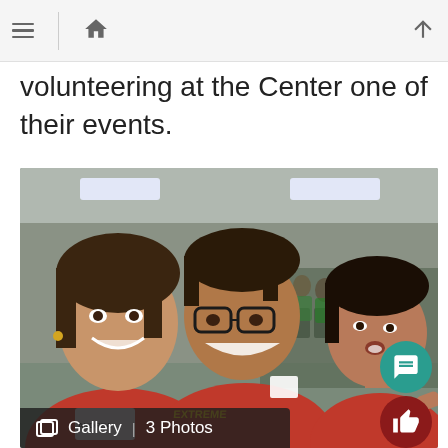Navigation header with menu, home, and up-arrow icons
volunteering at the Center one of their events.
[Figure (photo): Three teenagers smiling at the camera in a selfie. Two girls and one boy in the middle wearing red t-shirts. The boy wears glasses and a red shirt that reads 'The Extreme'. In the background there is an auditorium with rows of people seated in chairs. A name badge is visible on the girl on the left.]
Gallery | 3 Photos